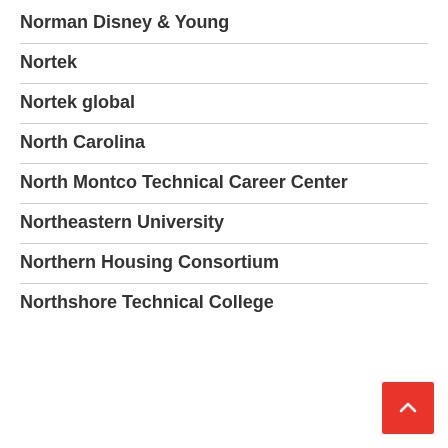Norman Disney & Young
Nortek
Nortek global
North Carolina
North Montco Technical Career Center
Northeastern University
Northern Housing Consortium
Northshore Technical College